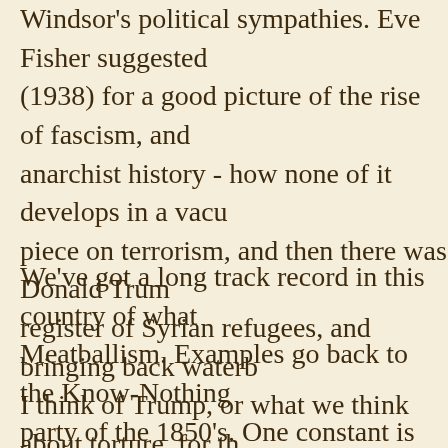Windsor's political sympathies. Eve Fisher suggested (1938) for a good picture of the rise of fascism, and anarchist history - how none of it develops in a vacuum piece on terrorism, and then there was Donald Trump register of Syrian refugees, and bringing back waterboarding. I think of Trump, or what we think about torture, for the radical salafist Islam. Certainly there's a debate to be had, that's another conversation. Right now, let's talk about exist in a vacuum, either, or outside historical context.
We've got a long track record in this country of what I call Meatballism. Examples go back to the Know-Nothing party of the 1850's. One constant is fear of the Other. were popular after the Deerfield Raid in 1704, white Indians, and much the same sentiment as No Irish Need Apply Act or Jim Crow laws, or various incarnations of the skills, and the lowest common denominator.